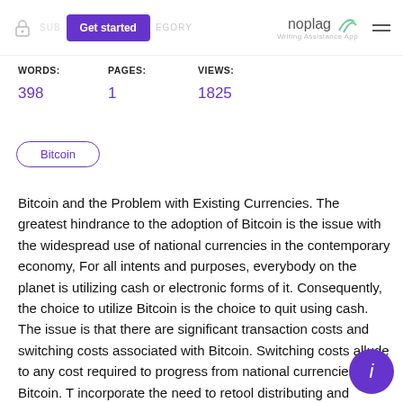Get started | noplag Writing Assistance App
WORDS: 398   PAGES: 1   VIEWS: 1825
Bitcoin
Bitcoin and the Problem with Existing Currencies. The greatest hindrance to the adoption of Bitcoin is the issue with the widespread use of national currencies in the contemporary economy, For all intents and purposes, everybody on the planet is utilizing cash or electronic forms of it. Consequently, the choice to utilize Bitcoin is the choice to quit using cash. The issue is that there are significant transaction costs and switching costs associated with Bitcoin. Switching costs allude to any cost required to progress from national currencies to Bitcoin. They incorporate the need to retool distributing and programming machines to refresh menus and exchange records and even to